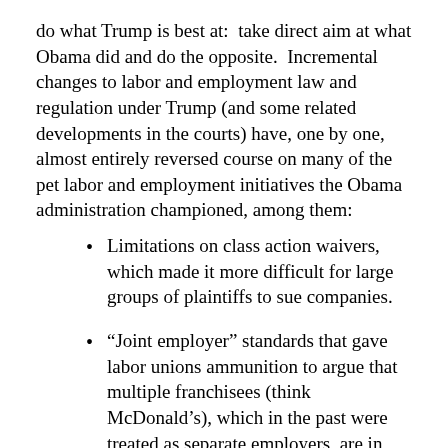do what Trump is best at:  take direct aim at what Obama did and do the opposite.  Incremental changes to labor and employment law and regulation under Trump (and some related developments in the courts) have, one by one, almost entirely reversed course on many of the pet labor and employment initiatives the Obama administration championed, among them:
Limitations on class action waivers, which made it more difficult for large groups of plaintiffs to sue companies.
“Joint employer” standards that gave labor unions ammunition to argue that multiple franchisees (think McDonald’s), which in the past were treated as separate employers, are in fact joint employers.  Those standards, now reversed, gave unions one big fish for organizing instead of many little ones